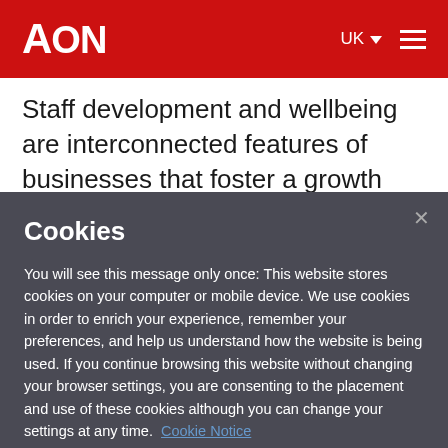AON — UK — menu
Staff development and wellbeing are interconnected features of businesses that foster a growth mindset. The creation of a safe, supportive, and collaborative culture
Cookies
You will see this message only once: This website stores cookies on your computer or mobile device. We use cookies in order to enrich your experience, remember your preferences, and help us understand how the website is being used. If you continue browsing this website without changing your browser settings, you are consenting to the placement and use of these cookies although you can change your settings at any time. Cookie Notice
Manage My Preferences
Accept Cookies